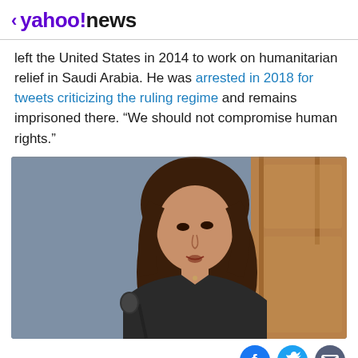< yahoo!news
left the United States in 2014 to work on humanitarian relief in Saudi Arabia. He was arrested in 2018 for tweets criticizing the ruling regime and remains imprisoned there. “We should not compromise human rights.”
[Figure (photo): A woman with long brown hair speaking at a microphone at a podium, wearing a dark jacket, with a blue-grey background and wooden cabinet visible.]